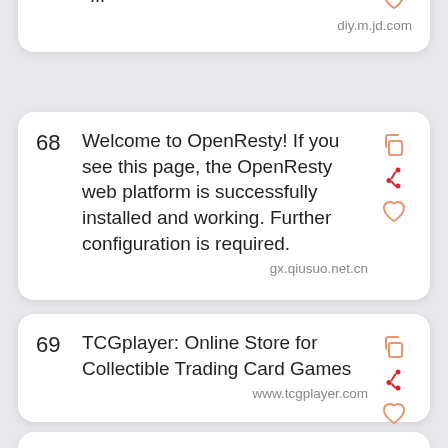... diy.m.jd.com
68 Welcome to OpenResty! If you see this page, the OpenResty web platform is successfully installed and working. Further configuration is required. gx.qiusuo.net.cn
69 TCGplayer: Online Store for Collectible Trading Card Games www.tcgplayer.com
70 The <strong>GX</strong> device controls the MultiPlus-II and the SmartSolar MPPT with respectively a VE.Bus and a